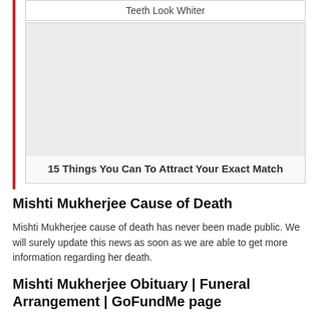Teeth Look Whiter
[Figure (other): Advertisement image placeholder with caption '15 Things You Can To Attract Your Exact Match']
15 Things You Can To Attract Your Exact Match
Mishti Mukherjee Cause of Death
Mishti Mukherjee cause of death has never been made public. We will surely update this news as soon as we are able to get more information regarding her death.
Mishti Mukherjee Obituary | Funeral Arrangement | GoFundMe page